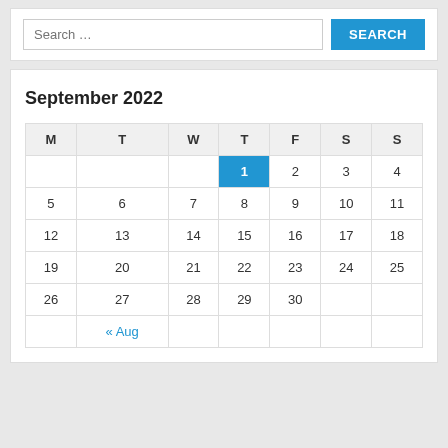Search …
| M | T | W | T | F | S | S |
| --- | --- | --- | --- | --- | --- | --- |
|  |  |  | 1 | 2 | 3 | 4 |
| 5 | 6 | 7 | 8 | 9 | 10 | 11 |
| 12 | 13 | 14 | 15 | 16 | 17 | 18 |
| 19 | 20 | 21 | 22 | 23 | 24 | 25 |
| 26 | 27 | 28 | 29 | 30 |  |  |
| « Aug |  |  |  |  |  |  |